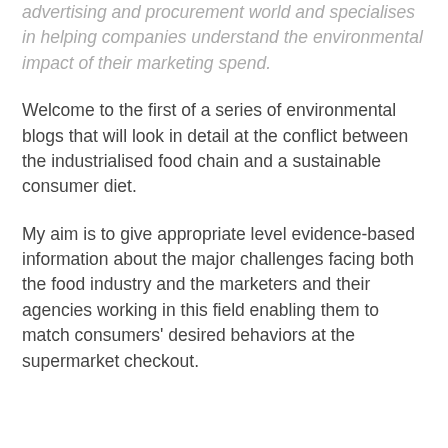advertising and procurement world and specialises in helping companies understand the environmental impact of their marketing spend.
Welcome to the first of a series of environmental blogs that will look in detail at the conflict between the industrialised food chain and a sustainable consumer diet.
My aim is to give appropriate level evidence-based information about the major challenges facing both the food industry and the marketers and their agencies working in this field enabling them to match consumers' desired behaviors at the supermarket checkout.